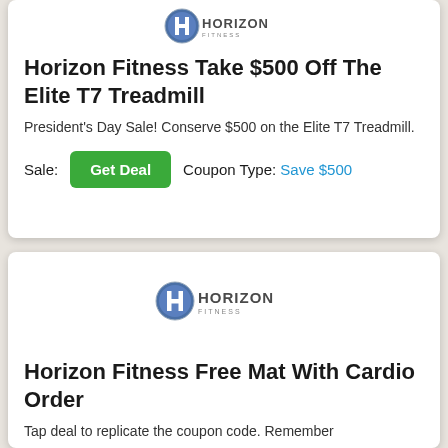[Figure (logo): Horizon Fitness logo - partial, cropped at top of first card]
Horizon Fitness Take $500 Off The Elite T7 Treadmill
President's Day Sale! Conserve $500 on the Elite T7 Treadmill.
Sale: Get Deal  Coupon Type: Save $500
[Figure (logo): Horizon Fitness logo - full, centered in second card]
Horizon Fitness Free Mat With Cardio Order
Tap deal to replicate the coupon code. Remember